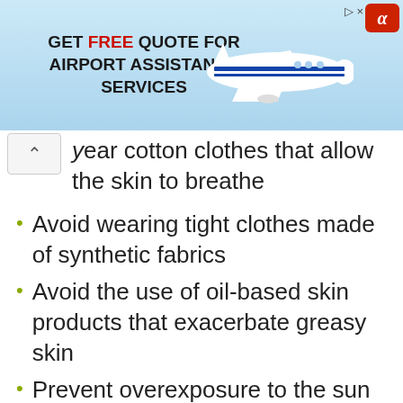[Figure (other): Advertisement banner: GET FREE QUOTE FOR AIRPORT ASSISTANCE SERVICES with airplane image and alpha icon]
year cotton clothes that allow the skin to breathe
Avoid wearing tight clothes made of synthetic fabrics
Avoid the use of oil-based skin products that exacerbate greasy skin
Prevent overexposure to the sun by wearing a sun block and staying away from the harsh afternoon sunlight
Reduce stress by practicing